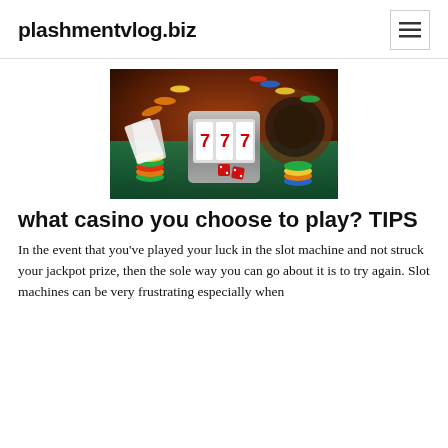plashmentvlog.biz
[Figure (photo): Casino-themed photo showing slot machine reels displaying triple 7s, surrounded by colorful poker chips (orange, yellow, blue, green, red), playing cards, and a roulette wheel on a green felt surface with a warm bokeh background.]
what casino you choose to play? TIPS
In the event that you've played your luck in the slot machine and not struck your jackpot prize, then the sole way you can go about it is to try again. Slot machines can be very frustrating especially when